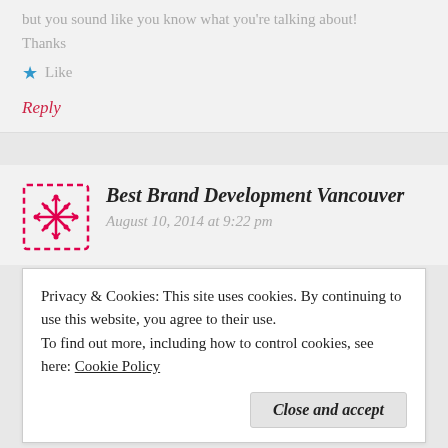but you sound like you know what you're talking about!
Thanks
★ Like
Reply
Best Brand Development Vancouver  August 10, 2014 at 9:22 pm
Privacy & Cookies: This site uses cookies. By continuing to use this website, you agree to their use. To find out more, including how to control cookies, see here: Cookie Policy
Close and accept